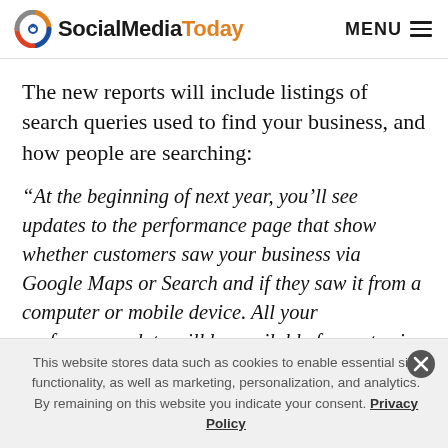SocialMediaToday  MENU
The new reports will include listings of search queries used to find your business, and how people are searching:
“At the beginning of next year, you’ll see updates to the performance page that show whether customers saw your business via Google Maps or Search and if they saw it from a computer or mobile device. All your performance data will be available for up to six months.”
This website stores data such as cookies to enable essential site functionality, as well as marketing, personalization, and analytics. By remaining on this website you indicate your consent. Privacy Policy